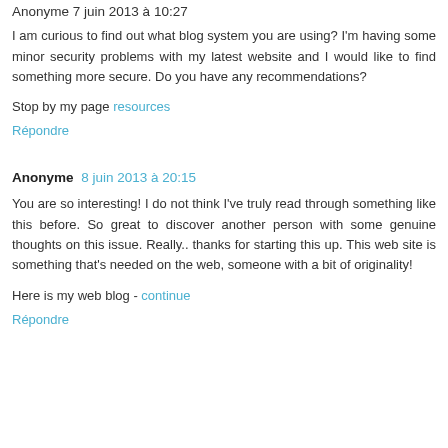Anonyme 7 juin 2013 à 10:27
I am curious to find out what blog system you are using? I'm having some minor security problems with my latest website and I would like to find something more secure. Do you have any recommendations?
Stop by my page resources
Répondre
Anonyme 8 juin 2013 à 20:15
You are so interesting! I do not think I've truly read through something like this before. So great to discover another person with some genuine thoughts on this issue. Really.. thanks for starting this up. This web site is something that's needed on the web, someone with a bit of originality!
Here is my web blog - continue
Répondre